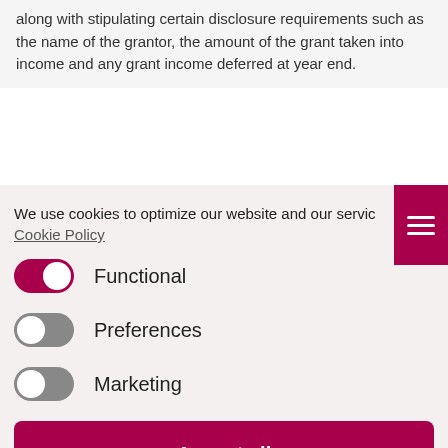along with stipulating certain disclosure requirements such as the name of the grantor, the amount of the grant taken into income and any grant income deferred at year end.
We use cookies to optimize our website and our service. Cookie Policy
Functional (toggle on)
Preferences (toggle off)
Marketing (toggle off)
Accept all
Save preferences
legislation, non-profit, sheil kinnear